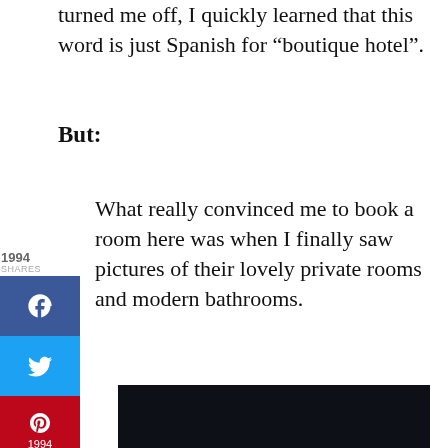turned me off, I quickly learned that this word is just Spanish for “boutique hotel”.
But:
What really convinced me to book a room here was when I finally saw pictures of their lovely private rooms and modern bathrooms.
[Figure (photo): Dark/black image placeholder, likely a hotel room photo]
This website uses cookies to improve your experience. We’ll assume you’re ok with this, but you can opt-out if you wish.
[Figure (other): Ad banner: dog image with text FIND THE ONE and a close button]